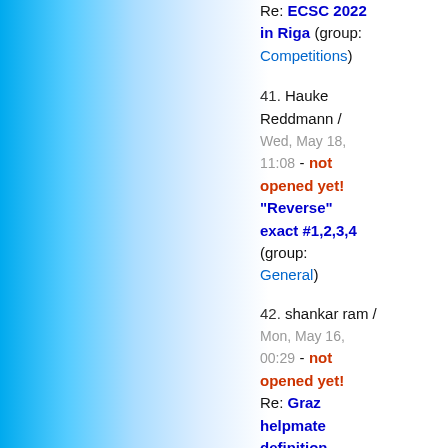Re: ECSC 2022 in Riga (group: Competitions)
41. Hauke Reddmann / Wed, May 18, 11:08 - not opened yet! "Reverse" exact #1,2,3,4 (group: General)
42. shankar ram / Mon, May 16, 00:29 - not opened yet! Re: Graz helpmate definition (group: General)
43. Joost de Heer / Wed, May 11, 09:52 - not opened yet! Re: Exact mate in 1,2,3,4 moves (group: General)